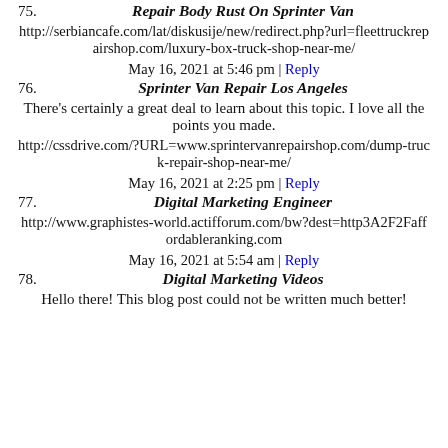75. Repair Body Rust On Sprinter Van
http://serbiancafe.com/lat/diskusije/new/redirect.php?url=fleettruckrepairshop.com/luxury-box-truck-shop-near-me/
May 16, 2021 at 5:46 pm | Reply
76. Sprinter Van Repair Los Angeles
There's certainly a great deal to learn about this topic. I love all the points you made.
http://cssdrive.com/?URL=www.sprintervanrepairshop.com/dump-truck-repair-shop-near-me/
May 16, 2021 at 2:25 pm | Reply
77. Digital Marketing Engineer
http://www.graphistes-world.actifforum.com/bw?dest=http3A2F2Faffordableranking.com
May 16, 2021 at 5:54 am | Reply
78. Digital Marketing Videos
Hello there! This blog post could not be written much better!